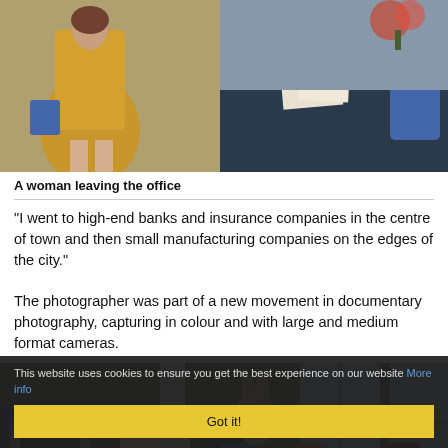[Figure (photo): A woman in a yellow/mustard dress leaving an office, with a dark reception desk visible in the background]
A woman leaving the office
"I went to high-end banks and insurance companies in the centre of town and then small manufacturing companies on the edges of the city."
The photographer was part of a new movement in documentary photography, capturing in colour and with large and medium format cameras.
[Figure (photo): An office scene with people working at computers, one person with curly hair visible in the foreground, windows in the background]
This website uses cookies to ensure you get the best experience on our website More info
Got it!